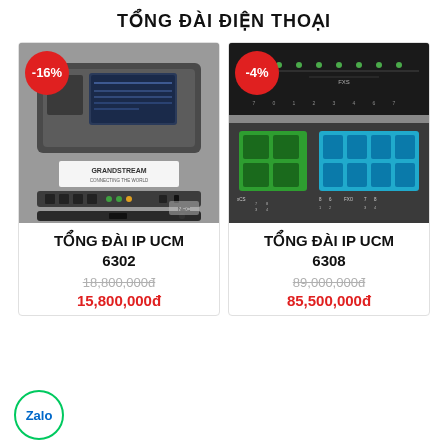TỔNG ĐÀI ĐIỆN THOẠI
[Figure (photo): Grandstream UCM6302 IP PBX device photo with -16% discount badge]
TỔNG ĐÀI IP UCM
6302
18,800,000đ
15,800,000đ
[Figure (photo): Grandstream UCM6308 IP PBX device photo with -4% discount badge]
TỔNG ĐÀI IP UCM
6308
89,000,000đ
85,500,000đ
[Figure (logo): Zalo circular logo badge at bottom left]